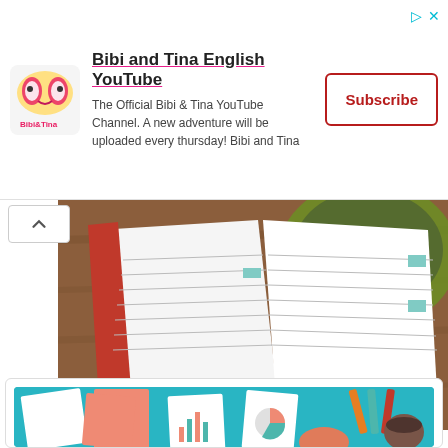[Figure (screenshot): Advertisement banner for Bibi and Tina English YouTube channel with logo, description text, and Subscribe button]
[Figure (photo): Top-down photo of an open lined notebook with a red cover and a green cup/bowl on a wooden surface]
[Figure (illustration): Flat design illustration of a desk workspace with charts, graphs, documents, laptop, phone, coffee cup and hands writing, on a teal background]